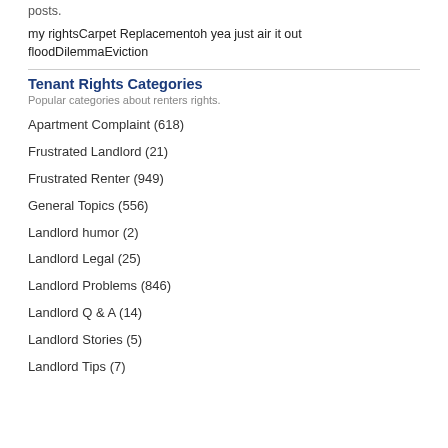posts.
my rightsCarpet Replacementoh yea just air it out floodDilemmaEviction
Tenant Rights Categories
Popular categories about renters rights.
Apartment Complaint (618)
Frustrated Landlord (21)
Frustrated Renter (949)
General Topics (556)
Landlord humor (2)
Landlord Legal (25)
Landlord Problems (846)
Landlord Q & A (14)
Landlord Stories (5)
Landlord Tips (7)